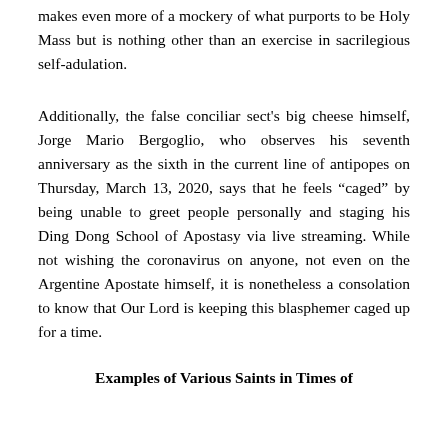makes even more of a mockery of what purports to be Holy Mass but is nothing other than an exercise in sacrilegious self-adulation.
Additionally, the false conciliar sect's big cheese himself, Jorge Mario Bergoglio, who observes his seventh anniversary as the sixth in the current line of antipopes on Thursday, March 13, 2020, says that he feels “caged” by being unable to greet people personally and staging his Ding Dong School of Apostasy via live streaming. While not wishing the coronavirus on anyone, not even on the Argentine Apostate himself, it is nonetheless a consolation to know that Our Lord is keeping this blasphemer caged up for a time.
Examples of Various Saints in Times of